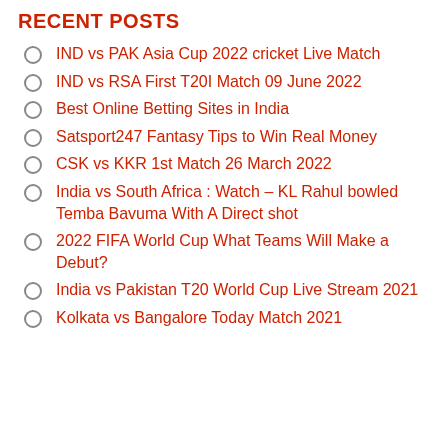RECENT POSTS
IND vs PAK Asia Cup 2022 cricket Live Match
IND vs RSA First T20I Match 09 June 2022
Best Online Betting Sites in India
Satsport247 Fantasy Tips to Win Real Money
CSK vs KKR 1st Match 26 March 2022
India vs South Africa : Watch – KL Rahul bowled Temba Bavuma With A Direct shot
2022 FIFA World Cup What Teams Will Make a Debut?
India vs Pakistan T20 World Cup Live Stream 2021
Kolkata vs Bangalore Today Match 2021